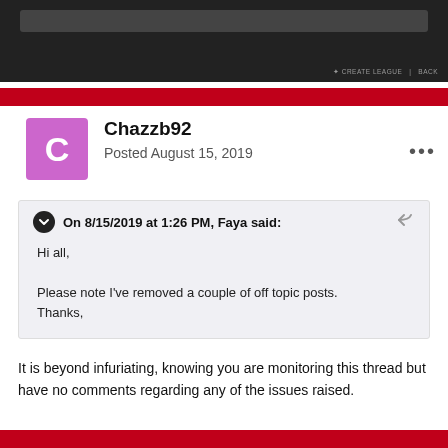[Figure (screenshot): Dark UI screenshot of a web application with a navigation bar and 'CREATE LEAGUE' and 'BACK' buttons visible]
Chazzb92
Posted August 15, 2019
On 8/15/2019 at 1:26 PM, Faya said:
Hi all,

Please note I've removed a couple of off topic posts.
Thanks,
It is beyond infuriating, knowing you are monitoring this thread but have no comments regarding any of the issues raised.